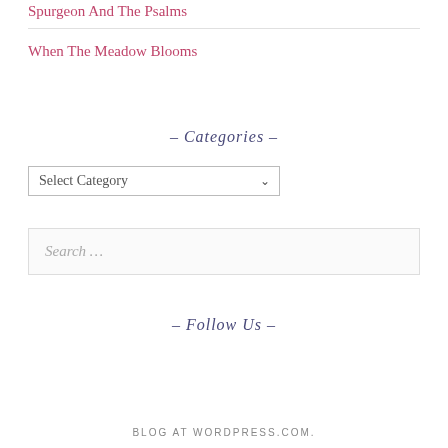Spurgeon And The Psalms
When The Meadow Blooms
– Categories –
Select Category
Search …
– Follow Us –
BLOG AT WORDPRESS.COM.